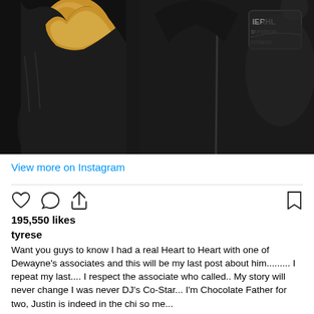[Figure (photo): Two people wearing black leather jackets. The person on the left wears a black leather jacket with a tan/camel shearling collar. The person on the right wears a black jacket with a brand patch reading 'IERHL' on it.]
View more on Instagram
195,550 likes
tyrese
Want you guys to know I had a real Heart to Heart with one of Dewayne's associates and this will be my last post about him......... I repeat my last.... I respect the associate who called.. My story will never change I was never DJ's Co-Star... I'm Chocolate Father for two, Justin is indeed in the chi so me...